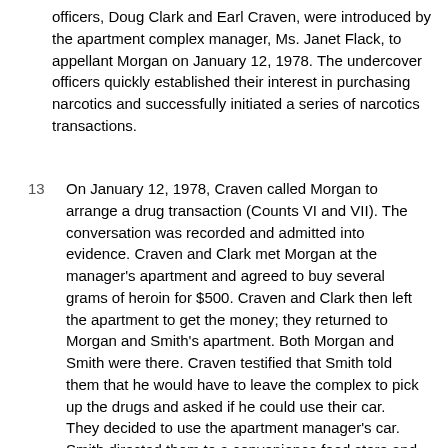officers, Doug Clark and Earl Craven, were introduced by the apartment complex manager, Ms. Janet Flack, to appellant Morgan on January 12, 1978. The undercover officers quickly established their interest in purchasing narcotics and successfully initiated a series of narcotics transactions.
13  On January 12, 1978, Craven called Morgan to arrange a drug transaction (Counts VI and VII). The conversation was recorded and admitted into evidence. Craven and Clark met Morgan at the manager's apartment and agreed to buy several grams of heroin for $500. Craven and Clark then left the apartment to get the money; they returned to Morgan and Smith's apartment. Both Morgan and Smith were there. Craven testified that Smith told them that he would have to leave the complex to pick up the drugs and asked if he could use their car. They decided to use the apartment manager's car. Smith directed them to a convenience food store and told them to wait here. Craven and Clark paid Smith and waited in the parking lot. Smith was followed by DEA surveillance to Norman Williams' address, 4010 East 123rd Street. Smith knocked but no one answered. Ten minutes later he returned to the parking lot. Smith returned the money. Craven then testified that Smith said that his man was "not home but, with a little luck," could be back at the apartment complex. They returned to the apartment complex.